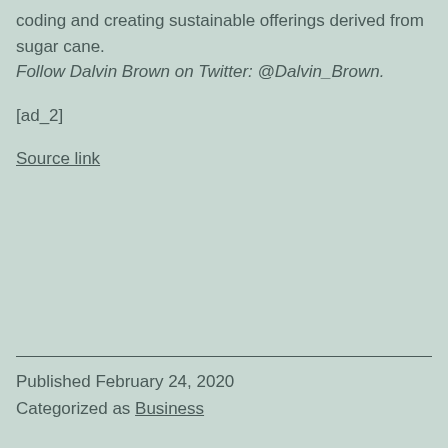coding and creating sustainable offerings derived from sugar cane. Follow Dalvin Brown on Twitter: @Dalvin_Brown.
[ad_2]
Source link
Published February 24, 2020
Categorized as Business